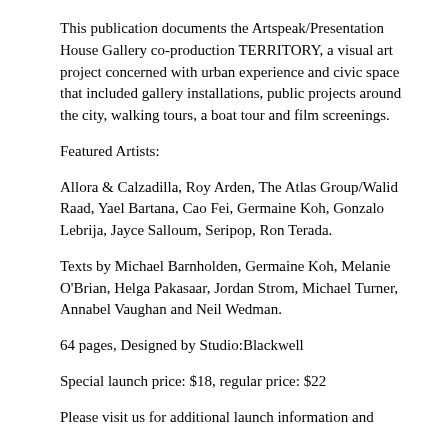This publication documents the Artspeak/Presentation House Gallery co-production TERRITORY, a visual art project concerned with urban experience and civic space that included gallery installations, public projects around the city, walking tours, a boat tour and film screenings.
Featured Artists:
Allora & Calzadilla, Roy Arden, The Atlas Group/Walid Raad, Yael Bartana, Cao Fei, Germaine Koh, Gonzalo Lebrija, Jayce Salloum, Seripop, Ron Terada.
Texts by Michael Barnholden, Germaine Koh, Melanie O'Brian, Helga Pakasaar, Jordan Strom, Michael Turner, Annabel Vaughan and Neil Wedman.
64 pages, Designed by Studio:Blackwell
Special launch price: $18, regular price: $22
Please visit us for additional launch information and...